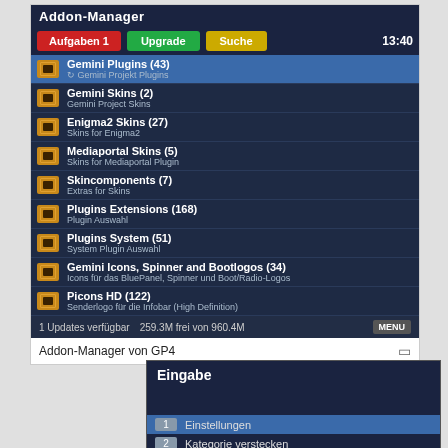[Figure (screenshot): Addon-Manager software interface showing plugin/skin categories list with Gemini Plugins, Skins, Enigma2 Skins, Mediaportal Skins, Skincomponents, Plugins Extensions, Plugins System, Gemini Icons, Picons HD. Status bar shows 1 Updates verfügbar, 259.3M frei von 960.4M, with MENU button. Buttons: Aufgaben 1 (red), Upgrade (green), Suche (yellow), time 13:40.]
Addon-Manager von GP4
[Figure (screenshot): Eingabe (input) dialog box showing menu options: 1 Einstellungen (selected/highlighted), 2 Kategorie verstecken, 3 Zeige versteckte Kategorien]